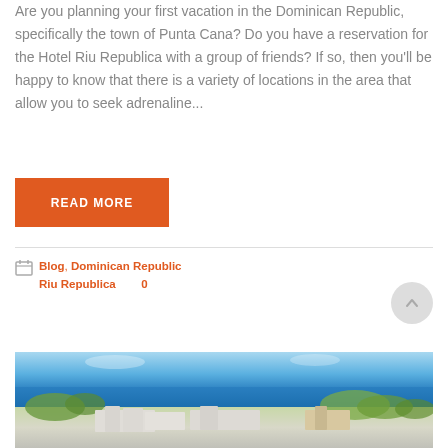Are you planning your first vacation in the Dominican Republic, specifically the town of Punta Cana? Do you have a reservation for the Hotel Riu Republica with a group of friends? If so, then you'll be happy to know that there is a variety of locations in the area that allow you to seek adrenaline...
READ MORE
Blog, Dominican Republic
Riu Republica   0
[Figure (photo): Aerial or panoramic view of Hotel Riu Republica area in Punta Cana, Dominican Republic, showing the resort buildings, beach, ocean, and tropical vegetation under a blue sky.]